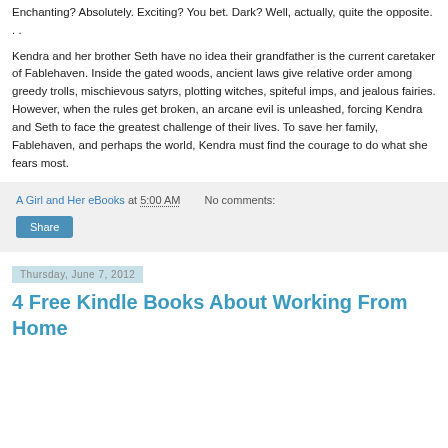Enchanting? Absolutely. Exciting? You bet. Dark? Well, actually, quite the opposite. . .
Kendra and her brother Seth have no idea their grandfather is the current caretaker of Fablehaven. Inside the gated woods, ancient laws give relative order among greedy trolls, mischievous satyrs, plotting witches, spiteful imps, and jealous fairies. However, when the rules get broken, an arcane evil is unleashed, forcing Kendra and Seth to face the greatest challenge of their lives. To save her family, Fablehaven, and perhaps the world, Kendra must find the courage to do what she fears most.
A Girl and Her eBooks at 5:00 AM    No comments:
Share
Thursday, June 7, 2012
4 Free Kindle Books About Working From Home